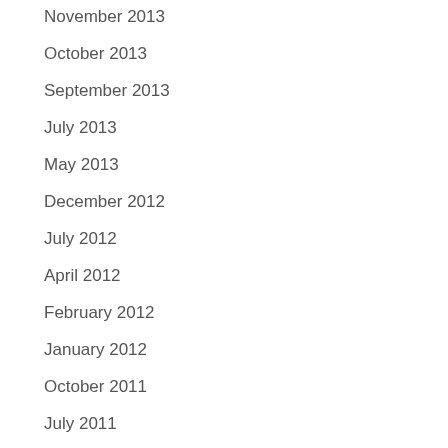November 2013
October 2013
September 2013
July 2013
May 2013
December 2012
July 2012
April 2012
February 2012
January 2012
October 2011
July 2011
May 2011
March 2011
February 2011